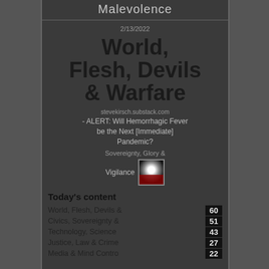Malevolence
2/13/2022
World, Flesh, Devils & Warfare
stevekirsch.substack.com - ALERT: Will Hemorrhagic Fever be the Next [Immediate] Pandemic?
Sovereignty, Glory &
Vigilance
Today's content
World, Flesh, Devils & ... 60
Civics, Sovereignty & ... 51
Technology, Science ... 43
Justice, Law & Crime ... 27
Media & Mind Control ... 22